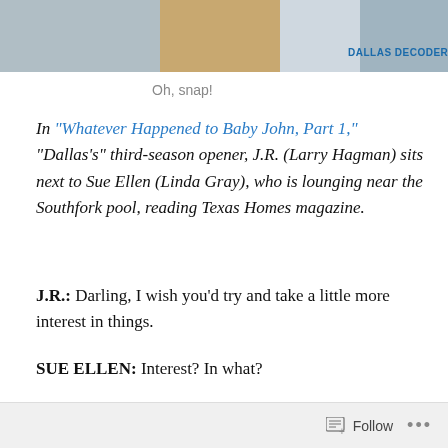[Figure (photo): Partial photo at top of page, showing people near a pool, with a watermark reading 'DALLAS DECODER']
Oh, snap!
In "Whatever Happened to Baby John, Part 1," "Dallas's" third-season opener, J.R. (Larry Hagman) sits next to Sue Ellen (Linda Gray), who is lounging near the Southfork pool, reading Texas Homes magazine.
J.R.: Darling, I wish you'd try and take a little more interest in things.
SUE ELLEN: Interest? In what?
J.R.: Well, to start with, our child.
SUE ELLEN: [Flips a page] I don't think he's exactly
Follow ...